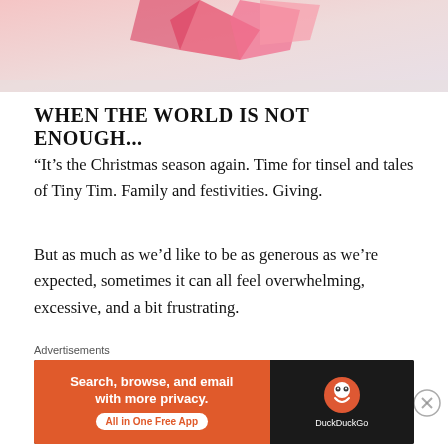[Figure (photo): Top portion of an image showing pink/rose colored gift wrapping or decorative elements on a light background]
WHEN THE WORLD IS NOT ENOUGH...
“It’s the Christmas season again. Time for tinsel and tales of Tiny Tim. Family and festivities. Giving.
But as much as we’d like to be as generous as we’re expected, sometimes it can all feel overwhelming, excessive, and a bit frustrating.
So how can we remember the true reason for this season when the world pulls our focus onto everything
Advertisements
[Figure (screenshot): DuckDuckGo advertisement banner: orange left section reading 'Search, browse, and email with more privacy. All in One Free App' and dark right section with DuckDuckGo logo and name]